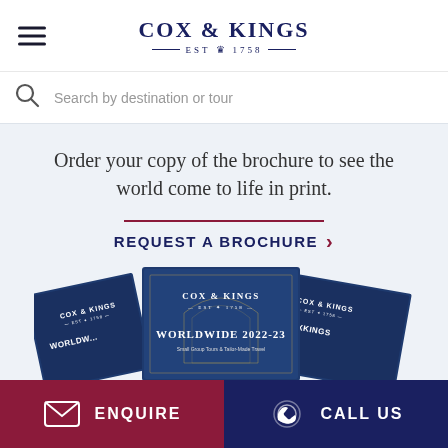COX & KINGS — EST ♛ 1758 —
Search by destination or tour
Order your copy of the brochure to see the world come to life in print.
REQUEST A BROCHURE
[Figure (photo): Cox & Kings Worldwide 2022-23 brochures fanned out, showing navy blue covers with ornate architectural motifs]
ENQUIRE
CALL US